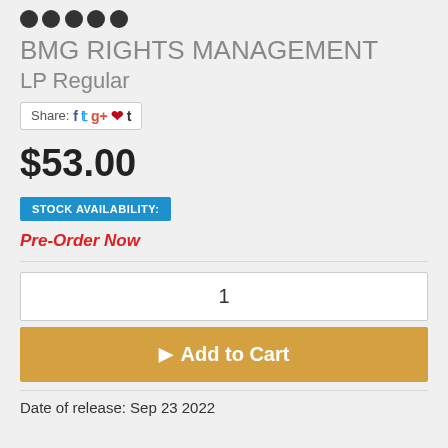[Figure (logo): Row of dark circular dots representing a logo]
BMG RIGHTS MANAGEMENT
LP Regular
Share: [social icons: Facebook, Twitter, Google+, Pinterest, Tumblr]
$53.00
STOCK AVAILABILITY:
Pre-Order Now
1
Add to Cart
Date of release: Sep 23 2022